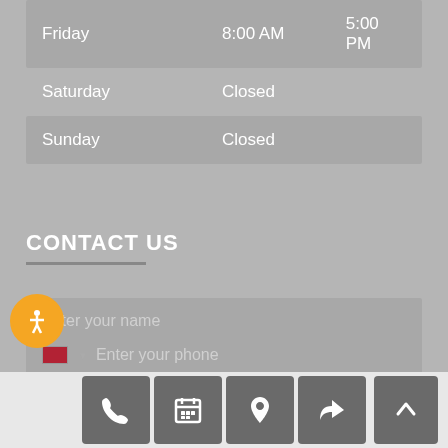| Day | Open | Close |
| --- | --- | --- |
| Friday | 8:00 AM | 5:00 PM |
| Saturday | Closed |  |
| Sunday | Closed |  |
CONTACT US
Enter your name
Enter your phone
[Figure (screenshot): Bottom navigation bar with phone, calendar, location, share icons and back-to-top button]